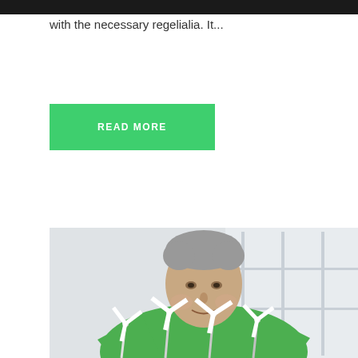with the necessary regelialia. It...
READ MORE
[Figure (photo): Middle-aged man with grey hair wearing a green sweater, leaning over a desk or table with small white wind turbine models in the foreground, bright office with large windows in the background.]